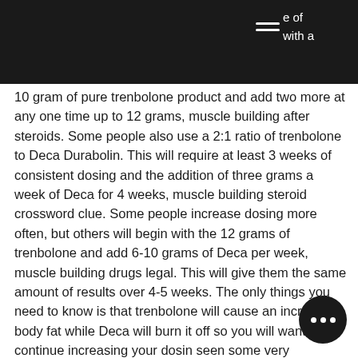e of with a
10 gram of pure trenbolone product and add two more at any one time up to 12 grams, muscle building after steroids. Some people also use a 2:1 ratio of trenbolone to Deca Durabolin. This will require at least 3 weeks of consistent dosing and the addition of three grams a week of Deca for 4 weeks, muscle building steroid crossword clue. Some people increase dosing more often, but others will begin with the 12 grams of trenbolone and add 6-10 grams of Deca per week, muscle building drugs legal. This will give them the same amount of results over 4-5 weeks. The only things you need to know is that trenbolone will cause an increase in body fat while Deca will burn it off so you will want to continue increasing your dosing seen some very impressive results with combination, building muscle cycle steroids.